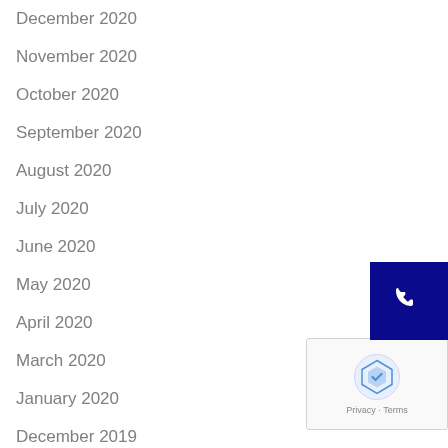December 2020
November 2020
October 2020
September 2020
August 2020
July 2020
June 2020
May 2020
April 2020
March 2020
January 2020
December 2019
[Figure (other): Phone call button (dark blue square with white phone icon)]
[Figure (other): reCAPTCHA badge with logo and Privacy/Terms links]